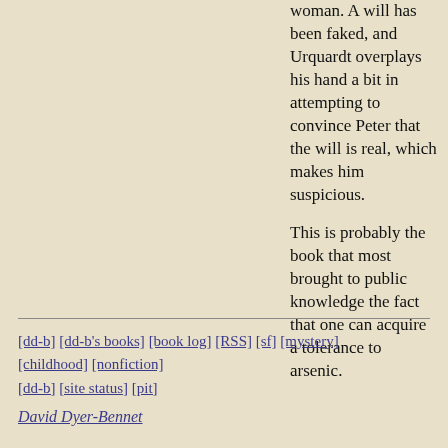woman. A will has been faked, and Urquardt overplays his hand a bit in attempting to convince Peter that the will is real, which makes him suspicious.
This is probably the book that most brought to public knowledge the fact that one can acquire a tolerance to arsenic.
[dd-b] [dd-b's books] [book log] [RSS] [sf] [mystery] [childhood] [nonfiction] [dd-b] [site status] [pit]
David Dyer-Bennet